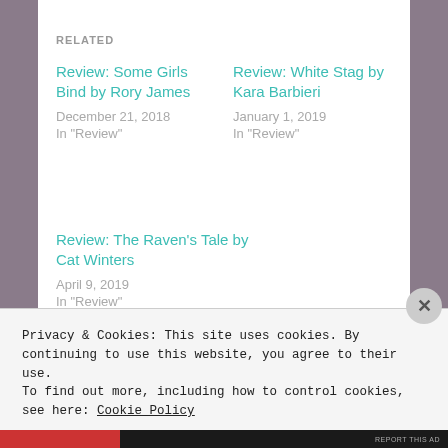RELATED
Review: Some Girls Bind by Rory James
December 21, 2018
In "Review"
Review: White Stag by Kara Barbieri
January 1, 2019
In "Review"
Review: The Raven's Tale by Cat Winters
April 9, 2019
In "Review"
Privacy & Cookies: This site uses cookies. By continuing to use this website, you agree to their use.
To find out more, including how to control cookies, see here: Cookie Policy
Close and accept